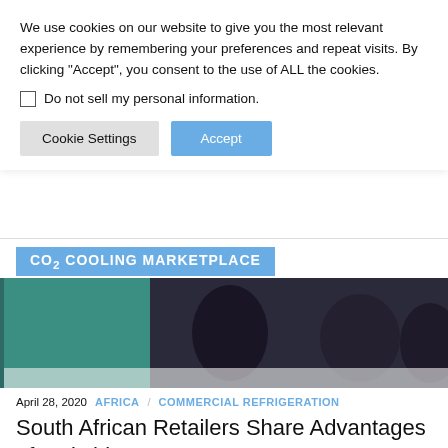We use cookies on our website to give you the most relevant experience by remembering your preferences and repeat visits. By clicking "Accept", you consent to the use of ALL the cookies.
Do not sell my personal information.
Cookie Settings   Accept
[Figure (screenshot): CO2 COOLING MARKETPLACE banner header in blue]
[Figure (photo): Photo of people seated at a panel discussion with a teal ATMOsphere branded backdrop visible on the left]
April 28, 2020   AFRICA   COMMERCIAL REFRIGERATION
South African Retailers Share Advantages of Switching to CO2